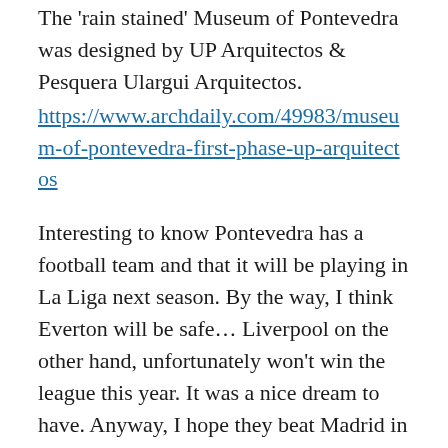The 'rain stained' Museum of Pontevedra was designed by UP Arquitectos & Pesquera Ulargui Arquitectos.
https://www.archdaily.com/49983/museum-of-pontevedra-first-phase-up-arquitectos
Interesting to know Pontevedra has a football team and that it will be playing in La Liga next season. By the way, I think Everton will be safe... Liverpool on the other hand, unfortunately won't win the league this year. It was a nice dream to have. Anyway, I hope they beat Madrid in the CL final.